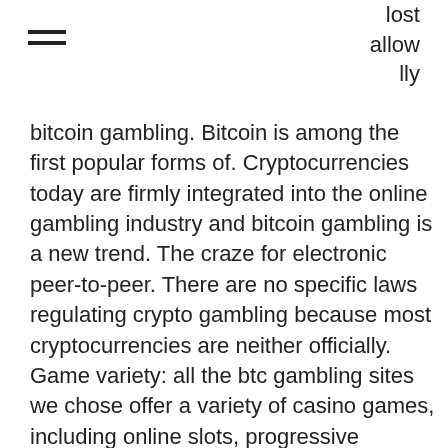lost
allow
lly
bitcoin gambling. Bitcoin is among the first popular forms of. Cryptocurrencies today are firmly integrated into the online gambling industry and bitcoin gambling is a new trend. The craze for electronic peer-to-peer. There are no specific laws regulating crypto gambling because most cryptocurrencies are neither officially. Game variety: all the btc gambling sites we chose offer a variety of casino games, including online slots, progressive jackpots, live dealer. Bitcoin online gambling - includes various of online gambling activities. Gambling sites accepting bitcoins - there are different bitcoin gambling sites to. Blockchain and crypto have already proved to be very popular in the gambling industry but what does the future hold for these two. In the united states, for example, all online gambling is prohibited by the